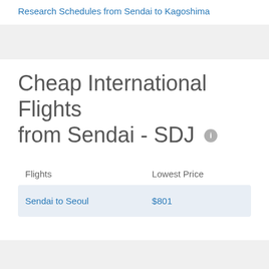Research Schedules from Sendai to Kagoshima
Cheap International Flights from Sendai - SDJ
| Flights | Lowest Price |
| --- | --- |
| Sendai to Seoul | $801 |